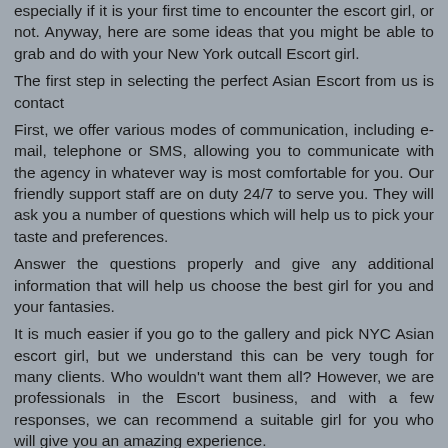especially if it is your first time to encounter the escort girl, or not. Anyway, here are some ideas that you might be able to grab and do with your New York outcall Escort girl.
The first step in selecting the perfect Asian Escort from us is contact
First, we offer various modes of communication, including e-mail, telephone or SMS, allowing you to communicate with the agency in whatever way is most comfortable for you. Our friendly support staff are on duty 24/7 to serve you. They will ask you a number of questions which will help us to pick your taste and preferences.
Answer the questions properly and give any additional information that will help us choose the best girl for you and your fantasies.
It is much easier if you go to the gallery and pick NYC Asian escort girl, but we understand this can be very tough for many clients. Who wouldn't want them all? However, we are professionals in the Escort business, and with a few responses, we can recommend a suitable girl for you who will give you an amazing experience.
Covered Full Service of NYC Asian escorts
If you are coming to NYC by yourself, or with your group of friends, you will want to get some companions for the